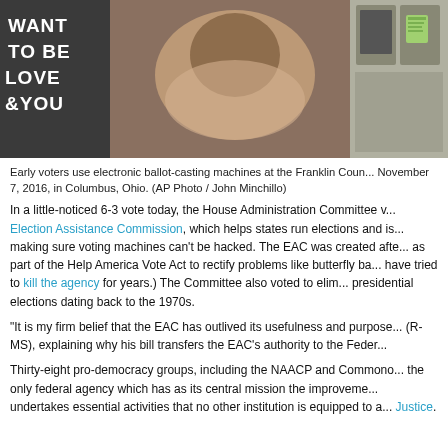[Figure (photo): Early voters using electronic ballot-casting machines at Franklin County, with a person leaning over a machine. Graffiti text visible on left side reading WANTED TO BE LOVED BY YOU. Voting booths visible on the right.]
Early voters use electronic ballot-casting machines at the Franklin Coun... November 7, 2016, in Columbus, Ohio. (AP Photo / John Minchillo)
In a little-noticed 6-3 vote today, the House Administration Committee v... Election Assistance Commission, which helps states run elections and is... making sure voting machines can't be hacked. The EAC was created afte... as part of the Help America Vote Act to rectify problems like butterfly ba... have tried to kill the agency for years.) The Committee also voted to elim... presidential elections dating back to the 1970s.
“It is my firm belief that the EAC has outlived its usefulness and purpose... (R-MS), explaining why his bill transfers the EAC’s authority to the Feder...
Thirty-eight pro-democracy groups, including the NAACP and Commono... the only federal agency which has as its central mission the improveme... undertakes essential activities that no other institution is equipped to a... Justice.